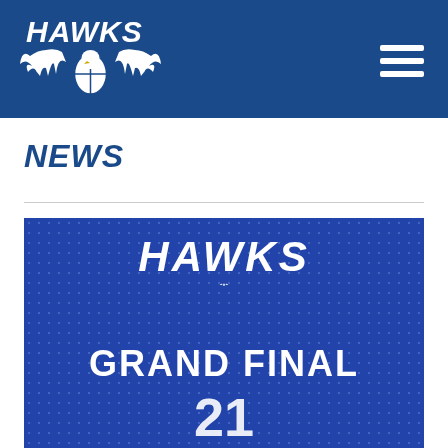HAWKS — Navigation header with logo and hamburger menu
NEWS
[Figure (illustration): Hawks Grand Final promotional banner on blue background with dot pattern. Shows HAWKS logo (eagle with wings and basketball) in white, text GRAND FINAL in large white bold letters, and partial number below.]